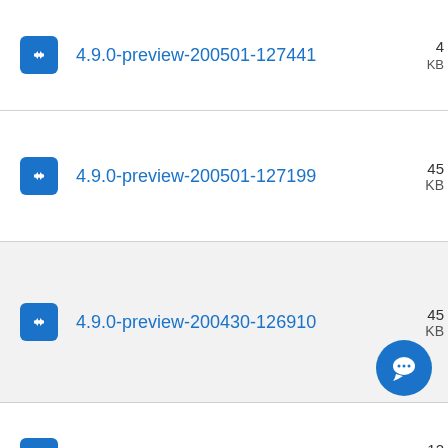4.9.0-preview-200501-127441
4.9.0-preview-200501-127199
4.9.0-preview-200430-126910
4.9.0-preview-200419-121404